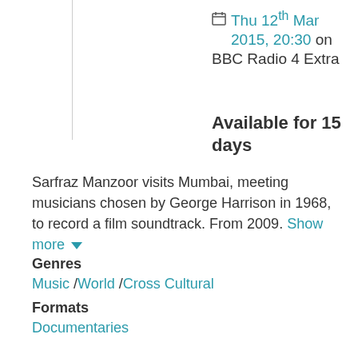Thu 12th Mar 2015, 20:30 on BBC Radio 4 Extra
Available for 15 days
Sarfraz Manzoor visits Mumbai, meeting musicians chosen by George Harrison in 1968, to record a film soundtrack. From 2009. Show more
Genres
Music / World / Cross Cultural
Formats
Documentaries